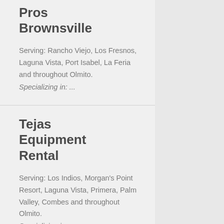Pros Brownsville
Serving: Rancho Viejo, Los Fresnos, Laguna Vista, Port Isabel, La Feria and throughout Olmito.
Specializing in: ...
Tejas Equipment Rental
Serving: Los Indios, Morgan's Point Resort, Laguna Vista, Primera, Palm Valley, Combes and throughout Olmito.
Specializing in: ...